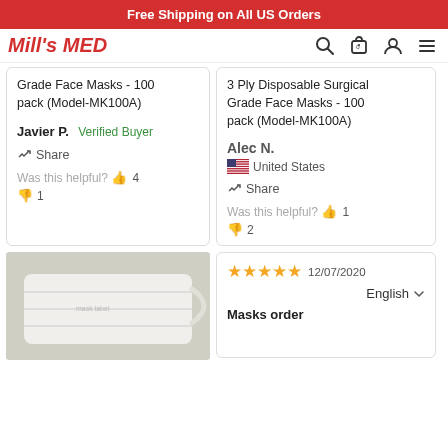Free Shipping on All US Orders
[Figure (logo): Mill's MED logo in red italic text]
Grade Face Masks - 100 pack (Model-MK100A)
Javier P.  Verified Buyer
Share
Was this helpful?  👍 4  👎 1
3 Ply Disposable Surgical Grade Face Masks - 100 pack (Model-MK100A)
Alec N.  United States
Share
Was this helpful?  👍 1  👎 2
[Figure (photo): Close-up photo of a white disposable surgical face mask]
★★★★★  12/07/2020  English
Masks order